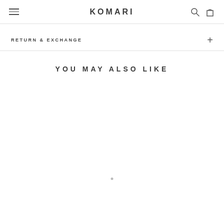KOMARI
RETURN & EXCHANGE
YOU MAY ALSO LIKE